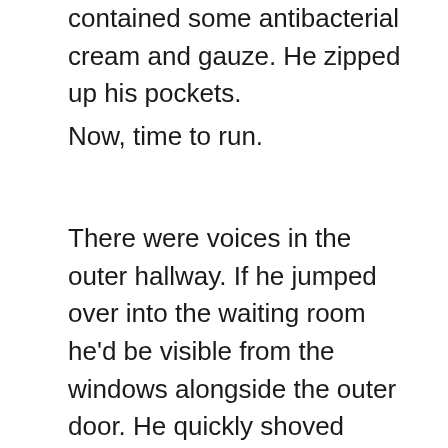contained some antibacterial cream and gauze. He zipped up his pockets.
Now, time to run.
There were voices in the outer hallway. If he jumped over into the waiting room he'd be visible from the windows alongside the outer door. He quickly shoved aside three-ring binders, a plant, and a coffee mug that said 'hot married urologist'. He unlatched the window, climbing out onto the ledge and down the emergency escape ladder. Jumping to street level, he knew how visible he'd been climbing down the side of the building, awkwardly looping